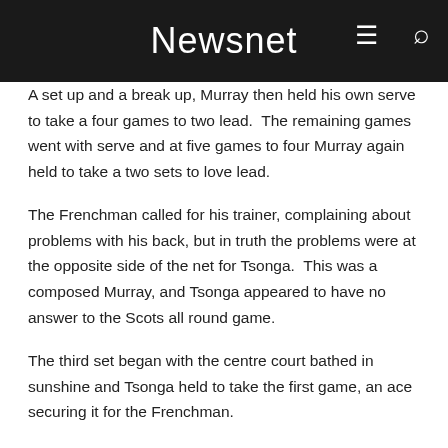Newsnet
A set up and a break up, Murray then held his own serve to take a four games to two lead.  The remaining games went with serve and at five games to four Murray again held to take a two sets to love lead.
The Frenchman called for his trainer, complaining about problems with his back, but in truth the problems were at the opposite side of the net for Tsonga.  This was a composed Murray, and Tsonga appeared to have no answer to the Scots all round game.
The third set began with the centre court bathed in sunshine and Tsonga held to take the first game, an ace securing it for the Frenchman.
Some lax play by Murray saw the Scot face three break